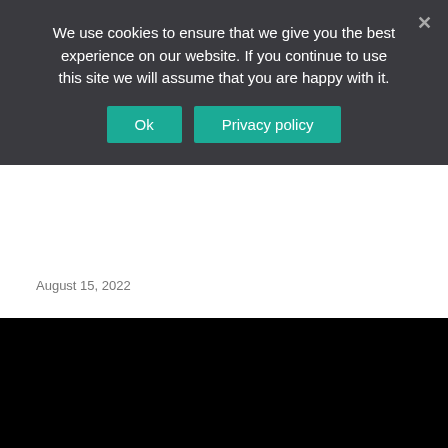We use cookies to ensure that we give you the best experience on our website. If you continue to use this site we will assume that you are happy with it.
Ok
Privacy policy
August 15, 2022
News Categories
Select Category